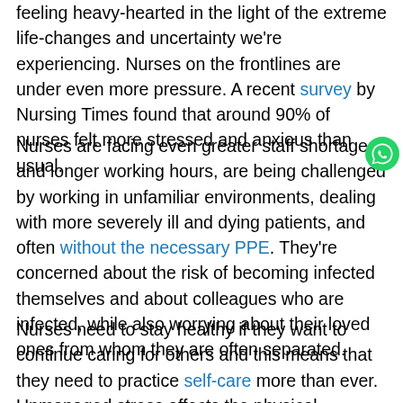feeling heavy-hearted in the light of the extreme life-changes and uncertainty we're experiencing. Nurses on the frontlines are under even more pressure. A recent survey by Nursing Times found that around 90% of nurses felt more stressed and anxious than usual.
Nurses are facing even greater staff shortages and longer working hours, are being challenged by working in unfamiliar environments, dealing with more severely ill and dying patients, and often without the necessary PPE. They're concerned about the risk of becoming infected themselves and about colleagues who are infected, while also worrying about their loved ones from whom they are often separated.
Nurses need to stay healthy if they want to continue caring for others and this means that they need to practice self-care more than ever. Unmanaged stress affects the physical, emotional, and mental health – including the